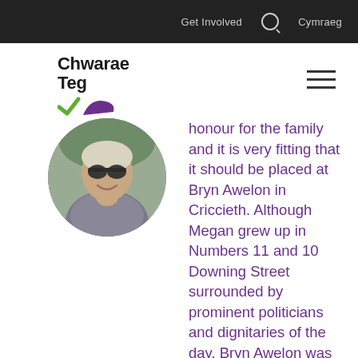Get Involved  Cymraeg
[Figure (logo): Chwarae Teg logo with green checkmark and purple swoosh]
[Figure (photo): Circular profile photo of a smiling woman with short blonde hair, wearing sunglasses and a patterned scarf]
honour for the family and it is very fitting that it should be placed at Bryn Awelon in Criccieth. Although Megan grew up in Numbers 11 and 10 Downing Street surrounded by prominent politicians and dignitaries of the day, Bryn Awelon was where she made her home serving on the local town council and with her next-door